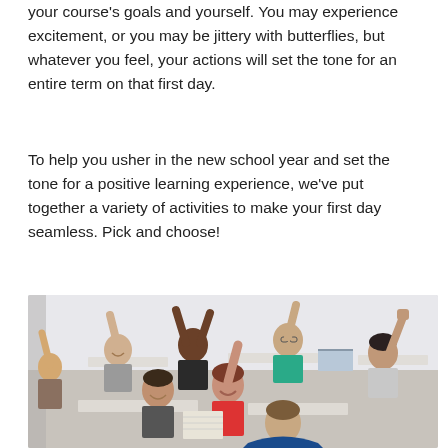your course's goals and yourself. You may experience excitement, or you may be jittery with butterflies, but whatever you feel, your actions will set the tone for an entire term on that first day.
To help you usher in the new school year and set the tone for a positive learning experience, we've put together a variety of activities to make your first day seamless. Pick and choose!
[Figure (photo): A classroom scene with students raising their hands enthusiastically. Multiple students of diverse backgrounds are seated at desks with arms raised, facing an instructor whose back is to the camera. The setting is a bright classroom with white walls.]